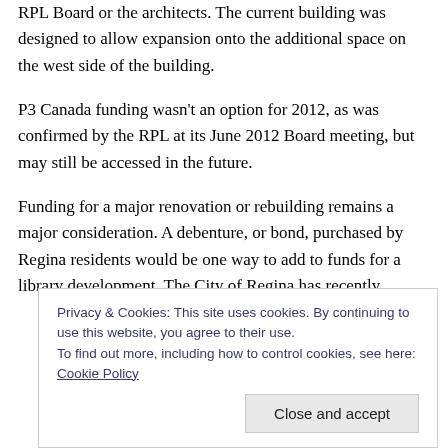RPL Board or the architects. The current building was designed to allow expansion onto the additional space on the west side of the building.
P3 Canada funding wasn't an option for 2012, as was confirmed by the RPL at its June 2012 Board meeting, but may still be accessed in the future.
Funding for a major renovation or rebuilding remains a major consideration. A debenture, or bond, purchased by Regina residents would be one way to add to funds for a library development. The City of Regina has recently
Privacy & Cookies: This site uses cookies. By continuing to use this website, you agree to their use.
To find out more, including how to control cookies, see here: Cookie Policy